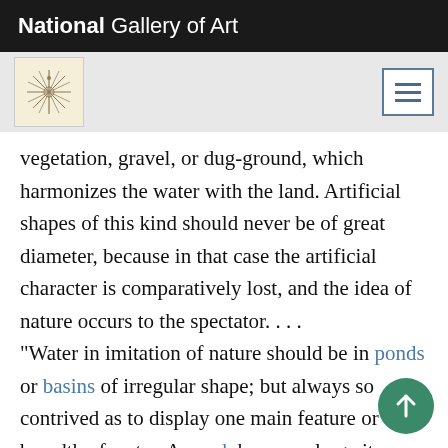National Gallery of Art
vegetation, gravel, or dug-ground, which harmonizes the water with the land. Artificial shapes of this kind should never be of great diameter, because in that case the artificial character is comparatively lost, and the idea of nature occurs to the spectator. . . .
“Water in imitation of nature should be in ponds or basins of irregular shape; but always so contrived as to display one main feature or breadth of water. A pond, however large it may be, if equally broken throughout by islands, or by projections from the shores, can have no pictorial beauty; because it is